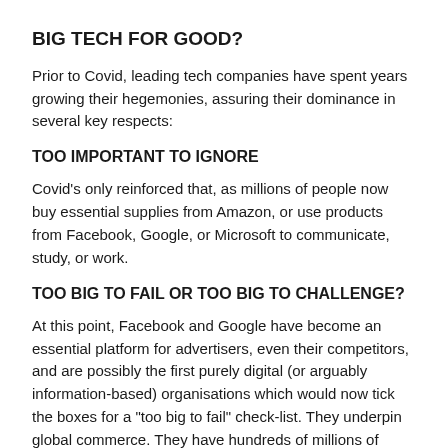BIG TECH FOR GOOD?
Prior to Covid, leading tech companies have spent years growing their hegemonies, assuring their dominance in several key respects:
TOO IMPORTANT TO IGNORE
Covid's only reinforced that, as millions of people now buy essential supplies from Amazon, or use products from Facebook, Google, or Microsoft to communicate, study, or work.
TOO BIG TO FAIL OR TOO BIG TO CHALLENGE?
At this point, Facebook and Google have become an essential platform for advertisers, even their competitors, and are possibly the first purely digital (or arguably information-based) organisations which would now tick the boxes for a "too big to fail" check-list. They underpin global commerce. They have hundreds of millions of users. Their theoretical exit could